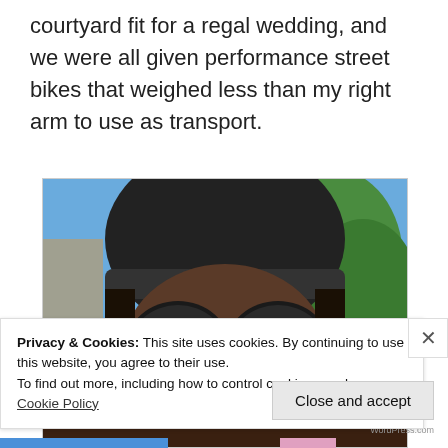courtyard fit for a regal wedding, and we were all given performance street bikes that weighed less than my right arm to use as transport.
[Figure (photo): Close-up selfie of a person wearing a black bicycle helmet and large round sunglasses, with blue sky and green trees visible in the background.]
Privacy & Cookies: This site uses cookies. By continuing to use this website, you agree to their use.
To find out more, including how to control cookies, see here: Cookie Policy